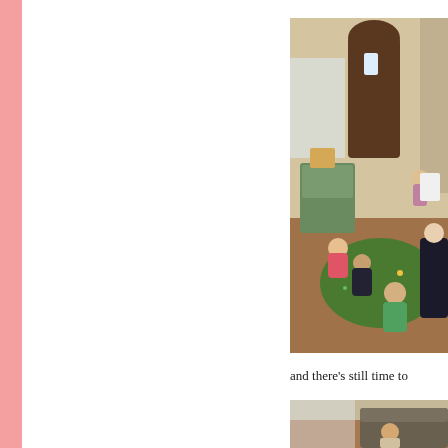[Figure (photo): Children sitting on a round green rug in a classroom/playroom with wooden floor, arched dark wooden door in background, and a green cabinet with toys. Several toddlers seated on the rug, one in pink sweater, one in black outfit, one in green shirt. An adult sits to the right.]
and there's still time to
[Figure (photo): Partial view of another indoor scene with a child, lower portion cut off.]